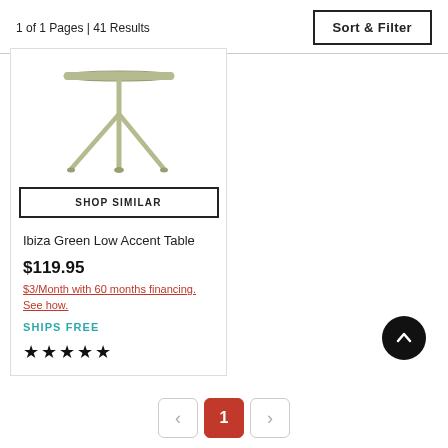1 of 1 Pages | 41 Results
Sort & Filter
[Figure (photo): Ibiza Green Low Accent Table product photo showing a light green metal tripod accent table with thin legs]
SHOP SIMILAR
Ibiza Green Low Accent Table
$119.95
$3/Month with 60 months financing. See how.
SHIPS FREE
★★★★★
‹  1  ›